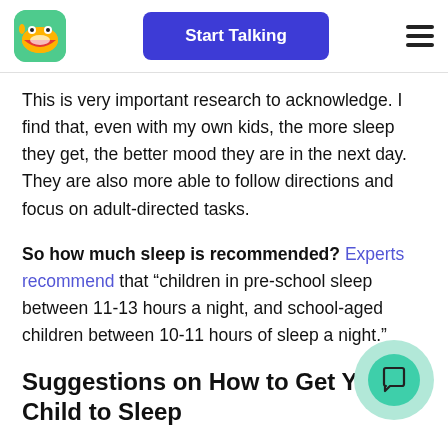Start Talking
This is very important research to acknowledge. I find that, even with my own kids, the more sleep they get, the better mood they are in the next day. They are also more able to follow directions and focus on adult-directed tasks.
So how much sleep is recommended? Experts recommend that “children in pre-school sleep between 11-13 hours a night, and school-aged children between 10-11 hours of sleep a night.”
Suggestions on How to Get Your Child to Sleep